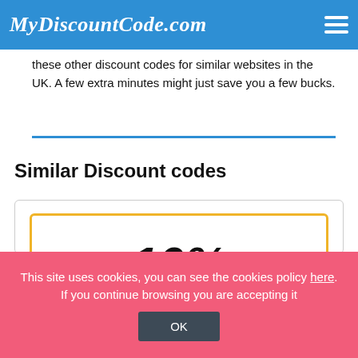MyDiscountCode.com
these other discount codes for similar websites in the UK. A few extra minutes might just save you a few bucks.
Similar Discount codes
[Figure (infographic): Coupon card with orange border showing '10%' in large bold italic text]
This site uses cookies, you can see the cookies policy here. If you continue browsing you are accepting it